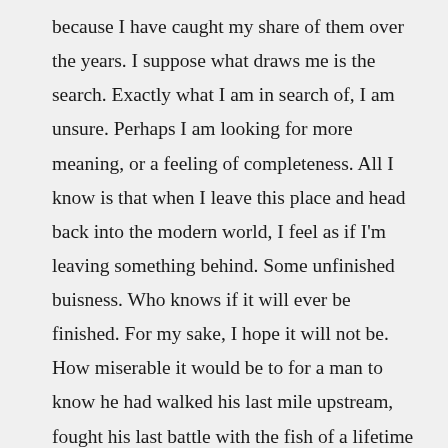because I have caught my share of them over the years. I suppose what draws me is the search. Exactly what I am in search of, I am unsure. Perhaps I am looking for more meaning, or a feeling of completeness. All I know is that when I leave this place and head back into the modern world, I feel as if I'm leaving something behind. Some unfinished buisness. Who knows if it will ever be finished. For my sake, I hope it will not be. How miserable it would be to for a man to know he had walked his last mile upstream, fought his last battle with the fish of a lifetime in the cool, clear waters that purify his soul.

So after all of this, the question still stands-- can fishing